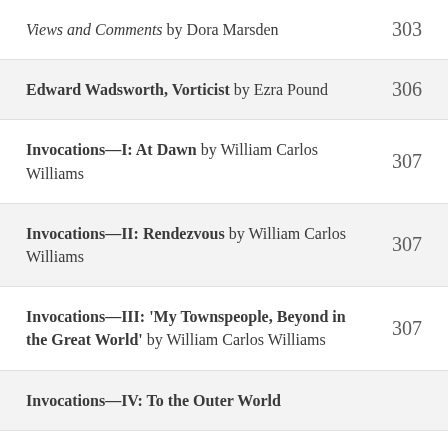Views and Comments by Dora Marsden 303
Edward Wadsworth, Vorticist by Ezra Pound 306
Invocations—I: At Dawn by William Carlos Williams 307
Invocations—II: Rendezvous by William Carlos Williams 307
Invocations—III: 'My Townspeople, Beyond in the Great World' by William Carlos Williams 307
Invocations—IV: To the Outer World [partial]